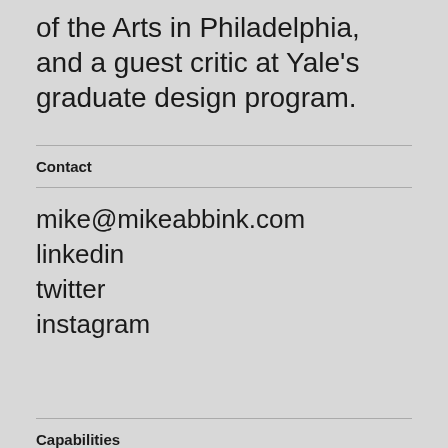of the Arts in Philadelphia, and a guest critic at Yale's graduate design program.
Contact
mike@mikeabbink.com
linkedin
twitter
instagram
Capabilities